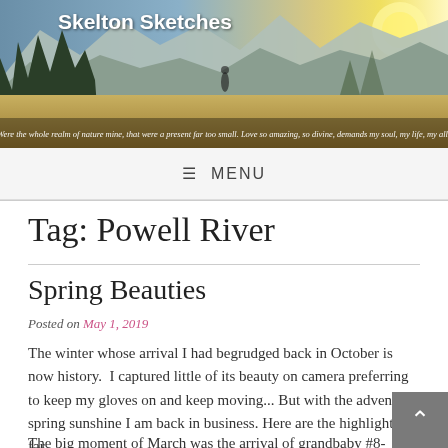Skelton Sketches
Were the whole realm of nature mine, that were a present far too small. Love so amazing, so divine, demands my soul, my life, my all!
≡ MENU
Tag: Powell River
Spring Beauties
Posted on May 1, 2019
The winter whose arrival I had begrudged back in October is now history.  I captured little of its beauty on camera preferring to keep my gloves on and keep moving... But with the advent of spring sunshine I am back in business. Here are the highlights so far.
The big moment of March was the arrival of grandbaby #8-